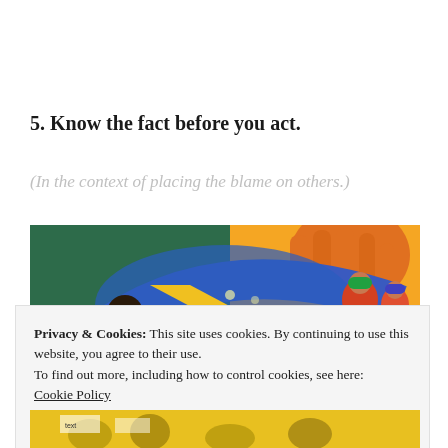5. Know the fact before you act.
(In the context of placing the blame on others.)
[Figure (photo): A colorful mural showing stylized figures of people including a woman in a headscarf, with a large hand and globe motif in the background.]
Privacy & Cookies: This site uses cookies. By continuing to use this website, you agree to their use.
To find out more, including how to control cookies, see here: Cookie Policy
[Figure (photo): Partial view of a yellow banner with people holding signs at what appears to be a protest or demonstration.]